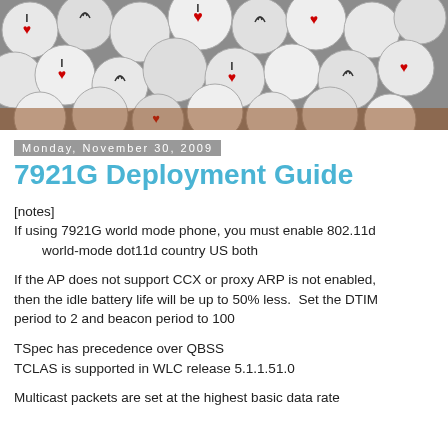[Figure (photo): Header image showing a pile of round white buttons/pins with 'I love WiFi' symbols including red hearts and WiFi signal icons in black]
Monday, November 30, 2009
7921G Deployment Guide
[notes]
If using 7921G world mode phone, you must enable 802.11d
   world-mode dot11d country US both
If the AP does not support CCX or proxy ARP is not enabled, then the idle battery life will be up to 50% less.  Set the DTIM period to 2 and beacon period to 100
TSpec has precedence over QBSS
TCLAS is supported in WLC release 5.1.1.51.0
Multicast packets are set at the highest basic data rate